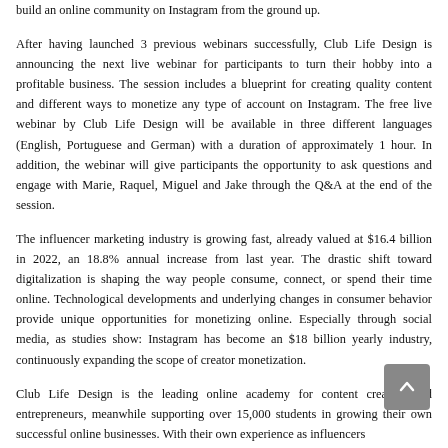build an online community on Instagram from the ground up.
After having launched 3 previous webinars successfully, Club Life Design is announcing the next live webinar for participants to turn their hobby into a profitable business. The session includes a blueprint for creating quality content and different ways to monetize any type of account on Instagram. The free live webinar by Club Life Design will be available in three different languages (English, Portuguese and German) with a duration of approximately 1 hour. In addition, the webinar will give participants the opportunity to ask questions and engage with Marie, Raquel, Miguel and Jake through the Q&A at the end of the session.
The influencer marketing industry is growing fast, already valued at $16.4 billion in 2022, an 18.8% annual increase from last year. The drastic shift toward digitalization is shaping the way people consume, connect, or spend their time online. Technological developments and underlying changes in consumer behavior provide unique opportunities for monetizing online. Especially through social media, as studies show: Instagram has become an $18 billion yearly industry, continuously expanding the scope of creator monetization.
Club Life Design is the leading online academy for content creators and entrepreneurs, meanwhile supporting over 15,000 students in growing their own successful online businesses. With their own experience as influencers